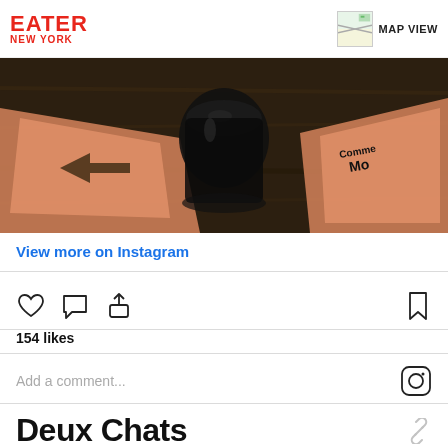EATER NEW YORK
[Figure (photo): Top-down view of dark wood table with orange-tinted flyers/cards and a dark glass or object in the center; partial text 'Comme Mo' visible on right card]
View more on Instagram
154 likes
Add a comment...
Deux Chats
Veteran NYC restaurateur Jon Neidich has been cranking out the hits. After debuting Nines, which is also on this list, Neidich opened Parisian wine bar Le Dive in Manhattan, which instantly became a crowd favorite. Just a couple